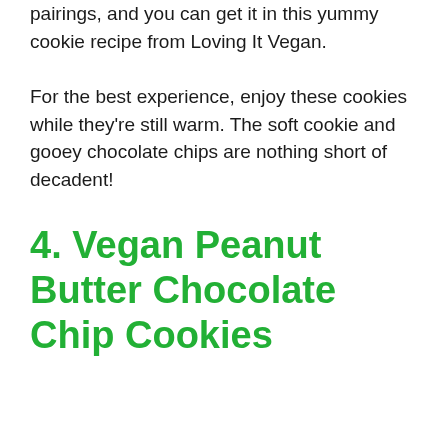pairings, and you can get it in this yummy cookie recipe from Loving It Vegan.
For the best experience, enjoy these cookies while they're still warm. The soft cookie and gooey chocolate chips are nothing short of decadent!
4. Vegan Peanut Butter Chocolate Chip Cookies